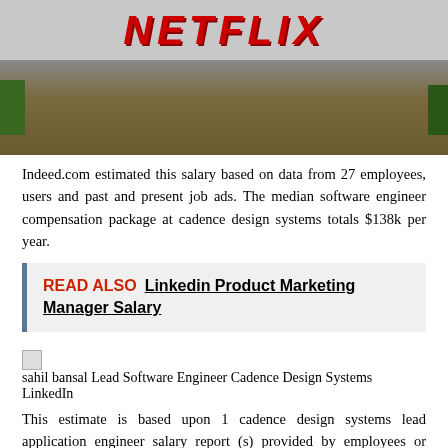[Figure (photo): Photo of a sign with red text on a grey background, with ground/soil and greenery visible, likely a company outdoor sign.]
Indeed.com estimated this salary based on data from 27 employees, users and past and present job ads. The median software engineer compensation package at cadence design systems totals $138k per year.
READ ALSO  Linkedin Product Marketing Manager Salary
[Figure (photo): sahil bansal Lead Software Engineer Cadence Design Systems LinkedIn]
This estimate is based upon 1 cadence design systems lead application engineer salary report (s) provided by employees or estimated based upon statistical methods. The average cadence